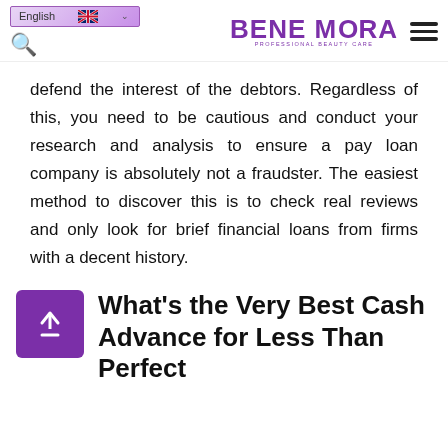English | BENEMORA PROFESSIONAL BEAUTY CARE
defend the interest of the debtors. Regardless of this, you need to be cautious and conduct your research and analysis to ensure a pay loan company is absolutely not a fraudster. The easiest method to discover this is to check real reviews and only look for brief financial loans from firms with a decent history.
What's the Very Best Cash Advance for Less Than Perfect